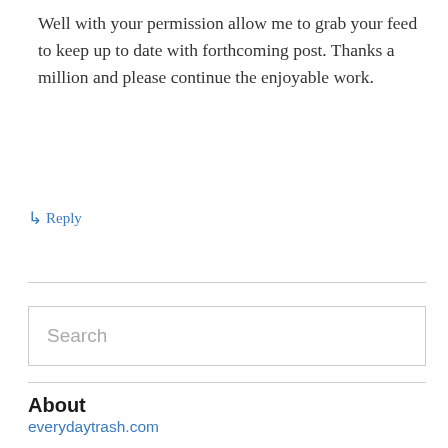Well with your permission allow me to grab your feed to keep up to date with forthcoming post. Thanks a million and please continue the enjoyable work.
↳ Reply
Search
About
everydaytrash.com
Types of Trash